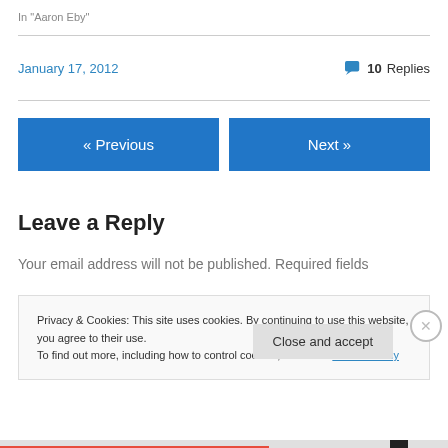In "Aaron Eby"
January 17, 2012
10 Replies
« Previous
Next »
Leave a Reply
Your email address will not be published. Required fields
Privacy & Cookies: This site uses cookies. By continuing to use this website, you agree to their use.
To find out more, including how to control cookies, see here: Cookie Policy
Close and accept